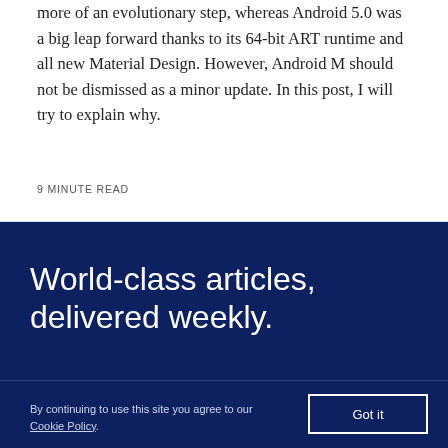more of an evolutionary step, whereas Android 5.0 was a big leap forward thanks to its 64-bit ART runtime and all new Material Design. However, Android M should not be dismissed as a minor update. In this post, I will try to explain why.
9 MINUTE READ
World-class articles, delivered weekly.
By continuing to use this site you agree to our Cookie Policy.